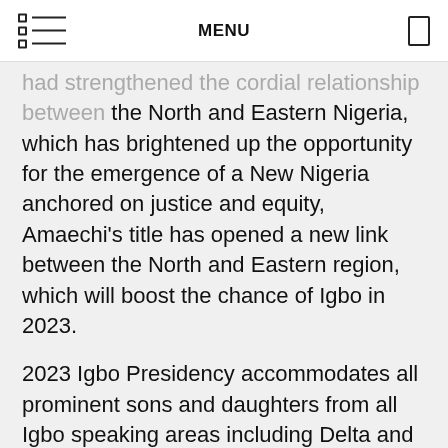MENU
had strengthened the cordial relationship between the North and Eastern Nigeria, which has brightened up the opportunity for the emergence of a New Nigeria anchored on justice and equity, Amaechi's title has opened a new link between the North and Eastern region, which will boost the chance of Igbo in 2023.
2023 Igbo Presidency accommodates all prominent sons and daughters from all Igbo speaking areas including Delta and Rivers states, “ Rt hon Chibuike Amaechi is the only bridge linking South/ south, southeast and the North, he is more of an asset to Ndigbo, as all eyes of the Igbo is on 2023, everyone is